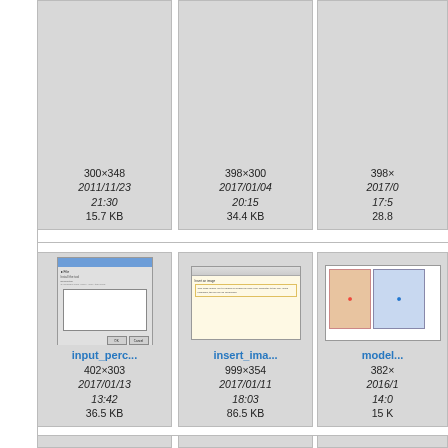[Figure (screenshot): Partial card row 1, card 1: thumbnail area with metadata: 300×348, 2011/11/23 21:30, 15.7 KB]
[Figure (screenshot): Partial card row 1, card 2: thumbnail area with metadata: 398×300, 2017/01/04 20:15, 34.4 KB]
[Figure (screenshot): Partial card row 1, card 3: thumbnail area with metadata: 398×..., 2017/0... 17:5..., 28.8...]
[Figure (screenshot): Card: input_perc... dialog screenshot. 402×303, 2017/01/13 13:42, 36.5 KB]
[Figure (screenshot): Card: insert_ima... browser screenshot. 999×354, 2017/01/11 18:03, 86.5 KB]
[Figure (screenshot): Card: model... card images screenshot. 382×..., 2016/1... 14:0..., 15 K...]
[Figure (screenshot): Partial card row 3, card 1: empty thumbnail]
[Figure (screenshot): Partial card row 3, card 2: empty thumbnail]
[Figure (screenshot): Partial card row 3, card 3: empty thumbnail]